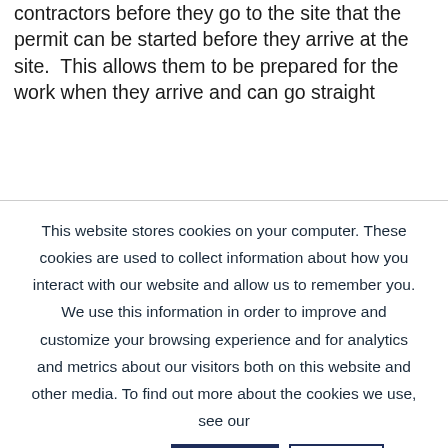contractors before they go to the site that the permit can be started before they arrive at the site.  This allows them to be prepared for the work when they arrive and can go straight
This website stores cookies on your computer. These cookies are used to collect information about how you interact with our website and allow us to remember you. We use this information in order to improve and customize your browsing experience and for analytics and metrics about our visitors both on this website and other media. To find out more about the cookies we use, see our
privacy policy. ACCEPT LEARN MORE